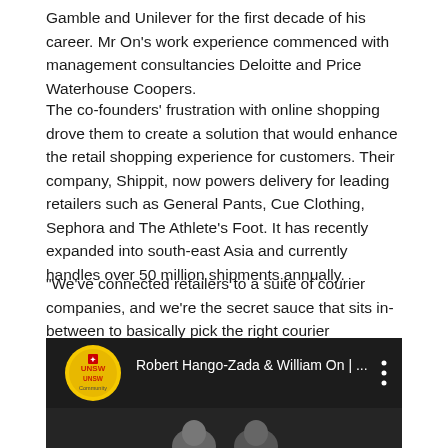Gamble and Unilever for the first decade of his career. Mr On's work experience commenced with management consultancies Deloitte and Price Waterhouse Coopers.
The co-founders' frustration with online shopping drove them to create a solution that would enhance the retail shopping experience for customers. Their company, Shippit, now powers delivery for leading retailers such as General Pants, Cue Clothing, Sephora and The Athlete's Foot. It has recently expanded into south-east Asia and currently handles over 50 million shipments annually.
“We’ve connected retailers to a suite of courier companies, and we’re the secret sauce that sits in-between to basically pick the right courier companies for the job and handle all of the communications to the end customers. [We] help the retailer own the experience of the delivery from cart to doorstep,” Mr Hango-Zada said.
[Figure (screenshot): Video thumbnail showing UNSW Community logo and title 'Robert Hango-Zada & William On | ...' with a three-dot menu icon, and two people visible at the bottom]